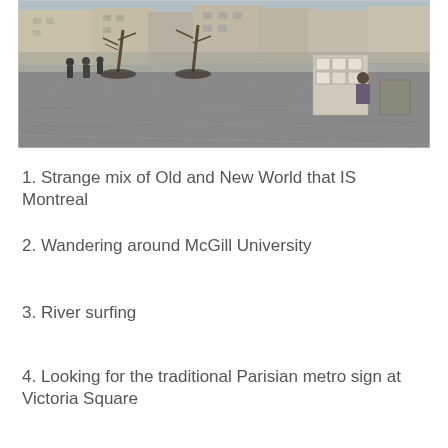[Figure (photo): Street scene in Montreal showing a wide pedestrian plaza with brick pavement, bare winter trees, people walking, and an outdoor art display stand on the right side with framed prints. Buildings line the background.]
1. Strange mix of Old and New World that IS Montreal
2. Wandering around McGill University
3. River surfing
4. Looking for the traditional Parisian metro sign at Victoria Square